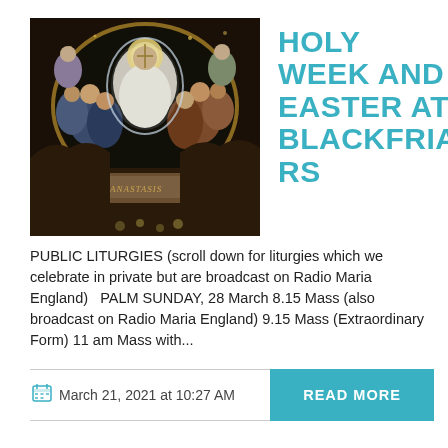[Figure (photo): A Byzantine-style fresco depicting the Resurrection/Harrowing of Hell (Anastasis), showing Christ in white robes surrounded by figures, with a dark arched background.]
HOLY WEEK AND EASTER AT BLACKFRIARS
PUBLIC LITURGIES (scroll down for liturgies which we celebrate in private but are broadcast on Radio Maria England)   PALM SUNDAY, 28 March 8.15 Mass (also broadcast on Radio Maria England) 9.15 Mass (Extraordinary Form) 11 am Mass with...
March 21, 2021 at 10:27 AM
READ MORE